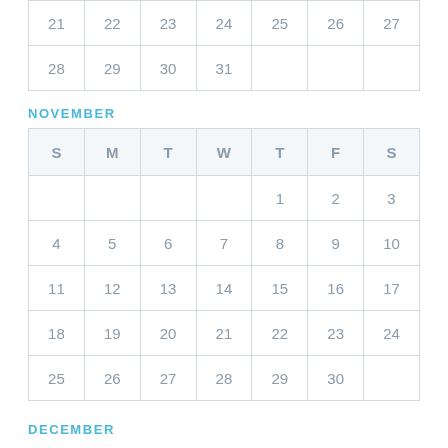| S | M | T | W | T | F | S |
| --- | --- | --- | --- | --- | --- | --- |
| 21 | 22 | 23 | 24 | 25 | 26 | 27 |
| 28 | 29 | 30 | 31 |  |  |  |
NOVEMBER
| S | M | T | W | T | F | S |
| --- | --- | --- | --- | --- | --- | --- |
|  |  |  |  | 1 | 2 | 3 |
| 4 | 5 | 6 | 7 | 8 | 9 | 10 |
| 11 | 12 | 13 | 14 | 15 | 16 | 17 |
| 18 | 19 | 20 | 21 | 22 | 23 | 24 |
| 25 | 26 | 27 | 28 | 29 | 30 |  |
DECEMBER